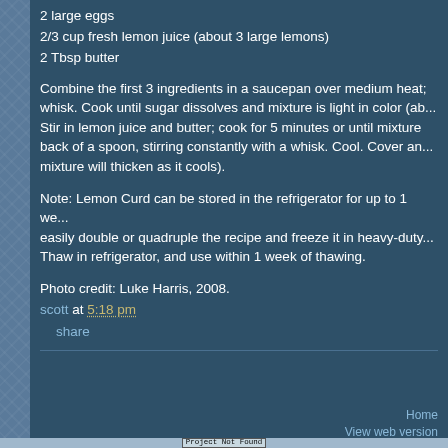2 large eggs
2/3 cup fresh lemon juice (about 3 large lemons)
2 Tbsp butter
Combine the first 3 ingredients in a saucepan over medium heat; whisk. Cook until sugar dissolves and mixture is light in color (ab... Stir in lemon juice and butter; cook for 5 minutes or until mixture back of a spoon, stirring constantly with a whisk. Cool. Cover an... mixture will thicken as it cools).
Note: Lemon Curd can be stored in the refrigerator for up to 1 we... easily double or quadruple the recipe and freeze it in heavy-duty... Thaw in refrigerator, and use within 1 week of thawing.
Photo credit: Luke Harris, 2008.
scott at 5:18 pm
share
‹   Home  View web version